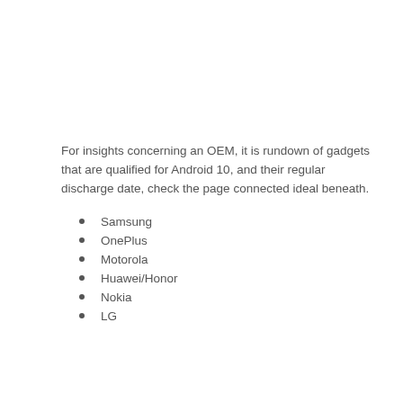For insights concerning an OEM, it is rundown of gadgets that are qualified for Android 10, and their regular discharge date, check the page connected ideal beneath.
Samsung
OnePlus
Motorola
Huawei/Honor
Nokia
LG